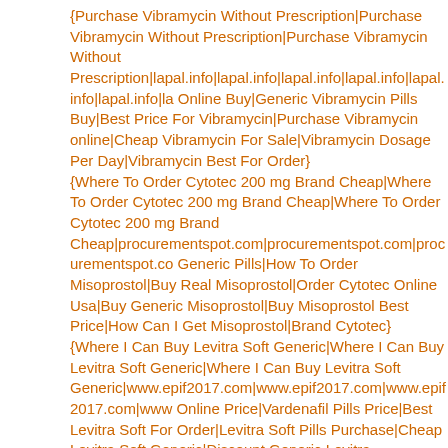{Purchase Vibramycin Without Prescription|Purchase Vibramycin Without Prescription|Purchase Vibramycin Without Prescription|lapal.info|lapal.info|lapal.info|lapal.info|lapal.info|lapal.info|la Online Buy|Generic Vibramycin Pills Buy|Best Price For Vibramycin|Purchase Vibramycin online|Cheap Vibramycin For Sale|Vibramycin Dosage Per Day|Vibramycin Best For Order}
{Where To Order Cytotec 200 mg Brand Cheap|Where To Order Cytotec 200 mg Brand Cheap|Where To Order Cytotec 200 mg Brand Cheap|procurementspot.com|procurementspot.com|procurementspot.co Generic Pills|How To Order Misoprostol|Buy Real Misoprostol|Order Cytotec Online Usa|Buy Generic Misoprostol|Buy Misoprostol Best Price|How Can I Get Misoprostol|Brand Cytotec}
{Where I Can Buy Levitra Soft Generic|Where I Can Buy Levitra Soft Generic|Where I Can Buy Levitra Soft Generic|www.epif2017.com|www.epif2017.com|www.epif2017.com|www Online Price|Vardenafil Pills Price|Best Levitra Soft For Order|Levitra Soft Pills Purchase|Cheap Levitra Soft Generic|Discount Generic Levitra Soft|Vardenafil Brand For Order|Where I Can Buy Levitra Soft|Us Pharmacy Vardenafil}
{Buy Inderal 20 mg Online With Prescription|Buy Inderal 20 mg Online With Prescription|Buy Inderal 20 mg Online With Prescription|druckerschwaerze.org|druckerschwaerze.org|druckerschwa